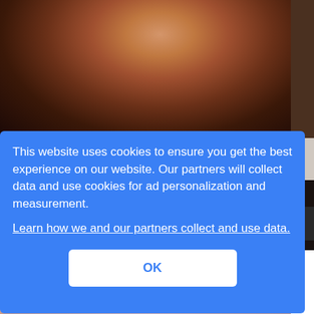[Figure (photo): A young girl in a red shirt in a fighting/boxing stance, with adults partially visible on either side. Dark background.]
This website uses cookies to ensure you get the best experience on our website. Our partners will collect data and use cookies for ad personalization and measurement.
Learn how we and our partners collect and use data.
OK
[Figure (photo): Partial view of a person in pink/purple at the bottom of the page.]